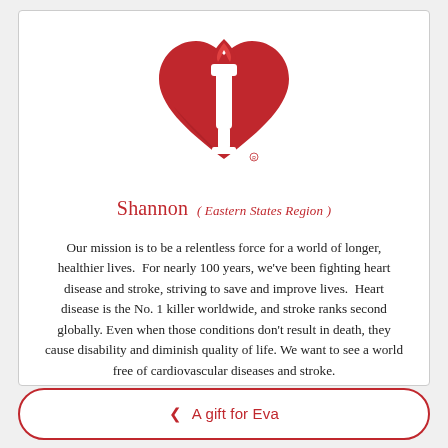[Figure (logo): American Heart Association logo: red heart shape with a torch/flame rising from center]
Shannon  ( Eastern States Region )
Our mission is to be a relentless force for a world of longer, healthier lives.  For nearly 100 years, we've been fighting heart disease and stroke, striving to save and improve lives.  Heart disease is the No. 1 killer worldwide, and stroke ranks second globally. Even when those conditions don't result in death, they cause disability and diminish quality of life. We want to see a world free of cardiovascular diseases and stroke.
‹ A gift for Eva